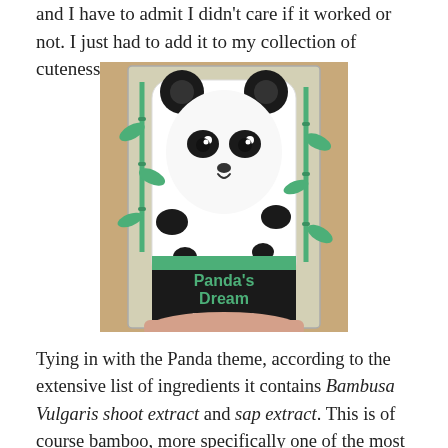and I have to admit I didn't care if it worked or not. I just had to add it to my collection of cuteness.
[Figure (photo): A hand holding a Panda's Dream So Cool Eye Stick product in a clear plastic box. The product features a cute panda face design with black ears, eyes, and spots on a white background, with green bamboo leaf decorations. The black bottom portion reads 'Panda's Dream So Cool Eye Stick' with Korean text below.]
Tying in with the Panda theme, according to the extensive list of ingredients it contains Bambusa Vulgaris shoot extract and sap extract. This is of course bamboo, more specifically one of the most